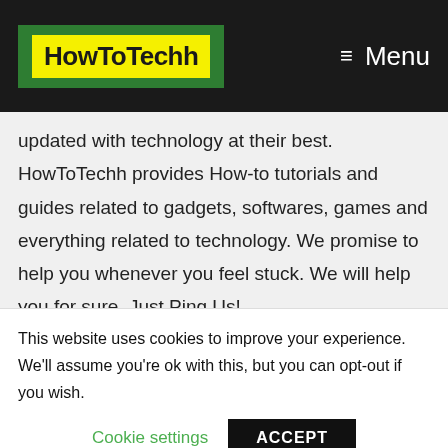HowToTechh | Menu
updated with technology at their best. HowToTechh provides How-to tutorials and guides related to gadgets, softwares, games and everything related to technology. We promise to help you whenever you feel stuck. We will help you for sure. Just Ping Us!
Pages
This website uses cookies to improve your experience. We'll assume you're ok with this, but you can opt-out if you wish.
Cookie settings | ACCEPT